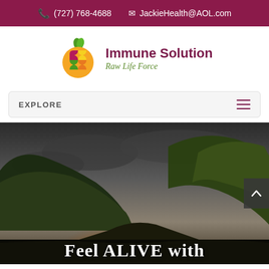(727) 768-4688  JackieHealth@AOL.com
[Figure (logo): Immune Solution Raw Life Force logo — colorful puzzle-piece orange/sphere with green leaf on top, company name in dark magenta and green italic subtitle]
EXPLORE
[Figure (photo): Dramatic landscape photo of a misty mountain valley with green hills, cloudy sky and golden sunlight breaking through from below]
Feel ALIVE with